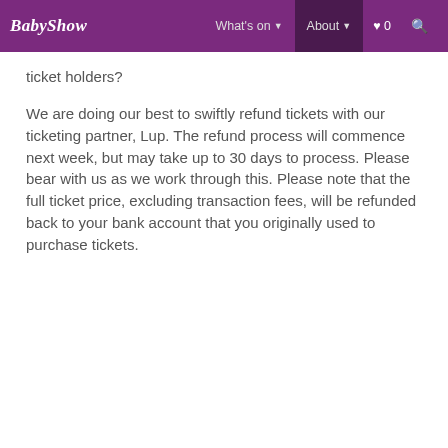BabyShow  What's on ▾  About ▾  ♥ 0  🔍
ticket holders?
We are doing our best to swiftly refund tickets with our ticketing partner, Lup. The refund process will commence next week, but may take up to 30 days to process. Please bear with us as we work through this. Please note that the full ticket price, excluding transaction fees, will be refunded back to your bank account that you originally used to purchase tickets.